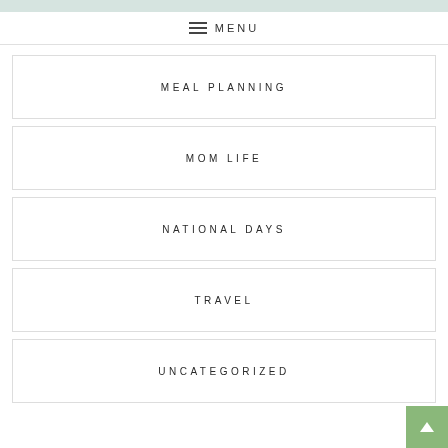MENU
MEAL PLANNING
MOM LIFE
NATIONAL DAYS
TRAVEL
UNCATEGORIZED